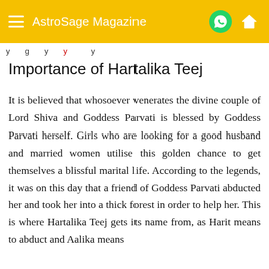AstroSage Magazine
Importance of Hartalika Teej
It is believed that whosoever venerates the divine couple of Lord Shiva and Goddess Parvati is blessed by Goddess Parvati herself. Girls who are looking for a good husband and married women utilise this golden chance to get themselves a blissful marital life. According to the legends, it was on this day that a friend of Goddess Parvati abducted her and took her into a thick forest in order to help her. This is where Hartalika Teej gets its name from, as Harit means to abduct and Aalika means